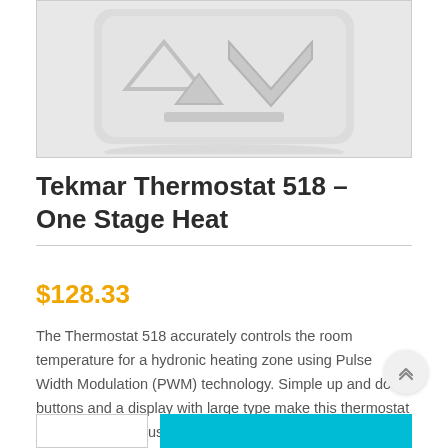[Figure (photo): Product photo of Tekmar Thermostat 518 – a white/light grey thermostat device with embossed up and down arrow buttons and a V-shaped design element on the face]
Tekmar Thermostat 518 – One Stage Heat
$128.33
The Thermostat 518 accurately controls the room temperature for a hydronic heating zone using Pulse Width Modulation (PWM) technology. Simple up and down buttons and a display with large type make this thermostat easy to read and use.